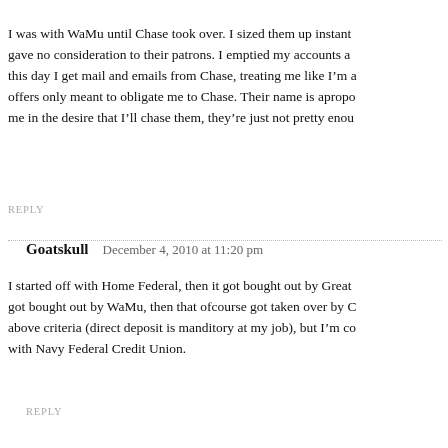I was with WaMu until Chase took over. I sized them up instant gave no consideration to their patrons. I emptied my accounts a this day I get mail and emails from Chase, treating me like I'm a offers only meant to obligate me to Chase. Their name is apropo me in the desire that I'll chase them, they're just not pretty enou
REPLY
Goatskull   December 4, 2010 at 11:20 pm
I started off with Home Federal, then it got bought out by Great got bought out by WaMu, then that ofcourse got taken over by C above criteria (direct deposit is manditory at my job), but I'm co with Navy Federal Credit Union.
REPLY